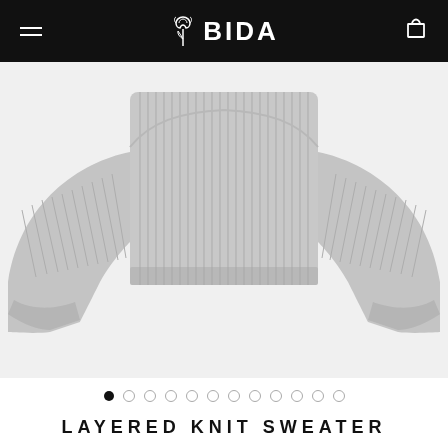BIDA
[Figure (photo): A grey ribbed knit cropped sweater with long sleeves and wide cuffs, shown flat against a white background. The sweater has a visible ribbed texture throughout.]
LAYERED KNIT SWEATER